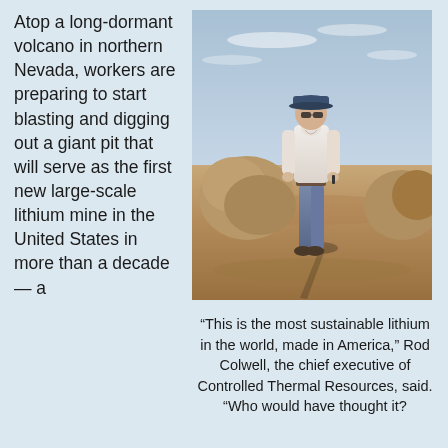Atop a long-dormant volcano in northern Nevada, workers are preparing to start blasting and digging out a giant pit that will serve as the first new large-scale lithium mine in the United States in more than a decade — a
[Figure (photo): A man in a white shirt, jeans, and blue cap stands atop rocky desert terrain under a partly cloudy sky, casting a long shadow]
“This is the most sustainable lithium in the world, made in America,” Rod Colwell, the chief executive of Controlled Thermal Resources, said. “Who would have thought it?